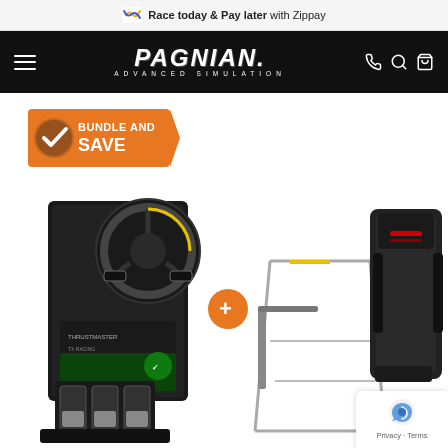Race today & Pay later with Zippay
[Figure (logo): Pagnian Advanced Simulation logo in white italic text on black navigation bar with hamburger menu and cart/search/phone icons]
[Figure (logo): Bundle and Save badge - orange with white checkmark and text BUNDLE AND SAVE]
[Figure (photo): Product bundle photo showing a Thrustmaster racing wheel and pedals set with box, plus an orange plus sign, and a racing simulator cockpit/seat on the right side]